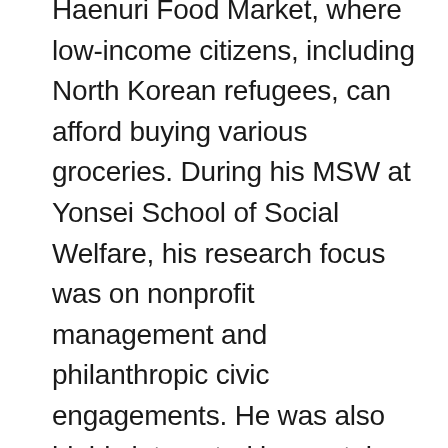Haenuri Food Market, where low-income citizens, including North Korean refugees, can afford buying various groceries. During his MSW at Yonsei School of Social Welfare, his research focus was on nonprofit management and philanthropic civic engagements. He was also highly interested in mental health disparities. His Master thesis investigated charitable giving and volunteering behaviors of 2,030 low-income citizens in the country. Furthermore, he worked as an editorial coordinator for the Korean Journal of Social Welfare Research at the Yonsei Center for Social Welfare Research. Before entering the MSASS, Seungjong worked at Good Neighbors International, an international humanitarian nonprofit